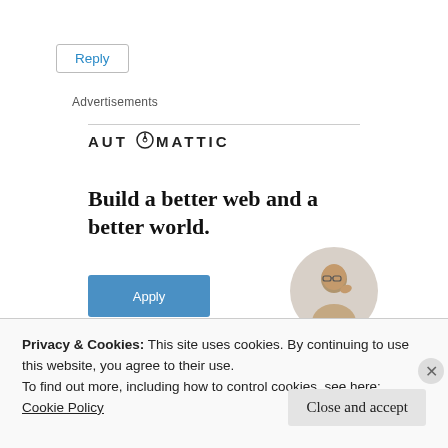Reply
Advertisements
[Figure (logo): Automattic logo with compass icon in letter O]
Build a better web and a better world.
[Figure (illustration): Blue Apply button]
[Figure (photo): Person with glasses in circular crop]
Privacy & Cookies: This site uses cookies. By continuing to use this website, you agree to their use. To find out more, including how to control cookies, see here: Cookie Policy
Close and accept